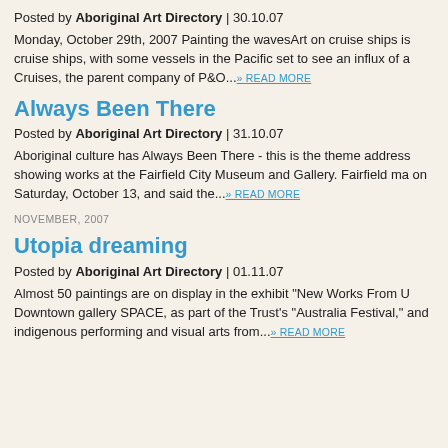Posted by Aboriginal Art Directory | 30.10.07
Monday, October 29th, 2007 Painting the wavesArt on cruise ships is... cruise ships, with some vessels in the Pacific set to see an influx of a... Cruises, the parent company of P&O... » READ MORE
Always Been There
Posted by Aboriginal Art Directory | 31.10.07
Aboriginal culture has Always Been There - this is the theme address... showing works at the Fairfield City Museum and Gallery. Fairfield ma... on Saturday, October 13, and said the... » READ MORE
NOVEMBER, 2007
Utopia dreaming
Posted by Aboriginal Art Directory | 01.11.07
Almost 50 paintings are on display in the exhibit "New Works From U... Downtown gallery SPACE, as part of the Trust's "Australia Festival,"... and indigenous performing and visual arts from... » READ MORE